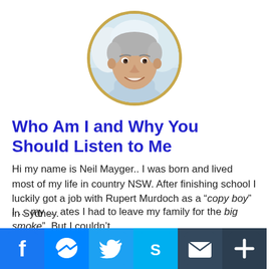[Figure (photo): Circular portrait photo of a middle-aged man with short grey/white hair, smiling, wearing a light blue shirt, outdoors with snowy trees in background. Photo has a gold/yellow circular border.]
Who Am I and Why You Should Listen to Me
Hi my name is Neil Mayger.. I was born and lived most of my life in country NSW. After finishing school I luckily got a job with Rupert Murdoch as a “copy boy” in Sydney.
I … my … ates I had to leave my family for the “big smoke”. But I couldn’t
[Figure (infographic): Social media sharing bar with icons: Facebook (blue), Messenger (blue/gradient), Twitter (blue), Skype (blue/teal), Email (dark blue envelope), Share/Plus (dark blue)]